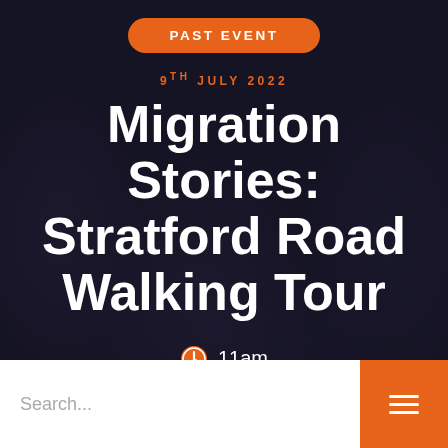PAST EVENT
9TH JULY 2022
Migration Stories: Stratford Road Walking Tour
11am
The Bordesley Centre | Stratford Rd |
Search...